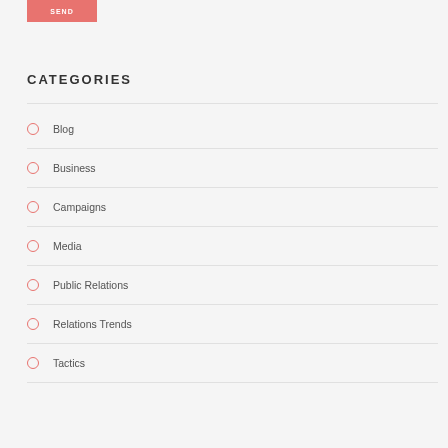[Figure (other): Pink/salmon colored button with label SEND]
CATEGORIES
Blog
Business
Campaigns
Media
Public Relations
Relations Trends
Tactics